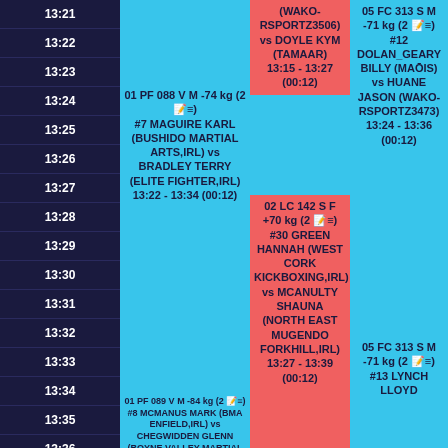| Time | Col1 | Col2 | Col3 |
| --- | --- | --- | --- |
| 13:21 |  | (WAKO-RSPORTZ3506) vs DOYLE KYM (TAMAAR) 13:15 - 13:27 (00:12) |  |
| 13:22 |  |  |  |
| 13:23 |  |  |  |
| 13:24 | 01 PF 088 V M -74 kg (2) #7 MAGUIRE KARL (BUSHIDO MARTIAL ARTS,IRL) vs BRADLEY TERRY (ELITE FIGHTER,IRL) 13:22 - 13:34 (00:12) |  |  |
| 13:25 |  |  |  |
| 13:26 |  |  |  |
| 13:27 |  |  | 05 FC 313 S M -71 kg (2) #12 DOLAN_GEARY BILLY (MAOIS) vs HUANE JASON (WAKO-RSPORTZ3473) 13:24 - 13:36 (00:12) |
| 13:28 |  |  |  |
| 13:29 |  | 02 LC 142 S F +70 kg (2) #30 GREEN HANNAH (WEST CORK KICKBOXING,IRL) vs MCANULTY SHAUNA (NORTH EAST MUGENDO FORKHILL,IRL) 13:27 - 13:39 (00:12) |  |
| 13:30 |  |  |  |
| 13:31 |  |  |  |
| 13:32 |  |  |  |
| 13:33 |  |  |  |
| 13:34 |  |  |  |
| 13:35 |  |  |  |
| 13:36 | 01 PF 089 V M -84 kg (2) #8 MCMANUS MARK (BMA ENFIELD,IRL) vs CHEGWIDDEN GLENN (BOYNE VALLEY MARTIAL ARTS,IRL) |  |  |
| 13:37 |  |  |  |
| 13:38 |  |  |  |
| 13:39 |  |  |  |
| 13:40 |  |  | 05 FC 313 S M -71 kg (2) #13 LYNCH LLOYD |
| 13:41 |  |  |  |